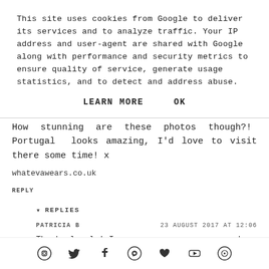This site uses cookies from Google to deliver its services and to analyze traffic. Your IP address and user-agent are shared with Google along with performance and security metrics to ensure quality of service, generate usage statistics, and to detect and address abuse.
LEARN MORE    OK
WHAT EVA WEARS    14 AUGUST 2017 AT 13:21
How stunning are these photos though?! Portugal looks amazing, I'd love to visit there some time! x
whatevawears.co.uk
REPLY
▾ REPLIES
PATRICIA B    23 AUGUST 2017 AT 12:06
Thanks lovely! I gave my mum my camera and
[Figure (other): Social media icons row: Instagram, Twitter, Facebook, Pinterest, Heart/Bloglovin, YouTube, and a circular icon]